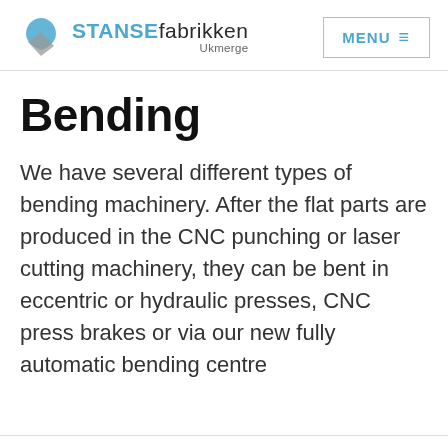STANSEfabrikken Ukmerge — MENU
Bending
We have several different types of bending machinery. After the flat parts are produced in the CNC punching or laser cutting machinery, they can be bent in eccentric or hydraulic presses, CNC press brakes or via our new fully automatic bending centre